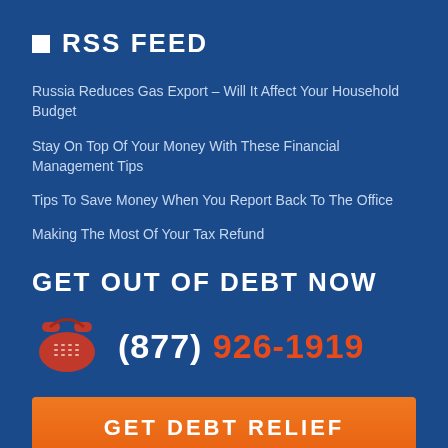RSS FEED
Russia Reduces Gas Export – Will It Affect Your Household Budget
Stay On Top Of Your Money With These Financial Management Tips
Tips To Save Money When You Report Back To The Office
Making The Most Of Your Tax Refund
GET OUT OF DEBT NOW
(877) 926-1919
GET DEBT RELIEF